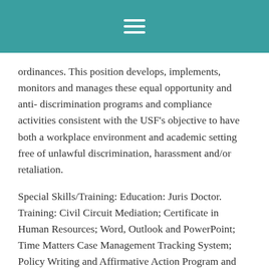ordinances. This position develops, implements, monitors and manages these equal opportunity and anti- discrimination programs and compliance activities consistent with the USF's objective to have both a workplace environment and academic setting free of unlawful discrimination, harassment and/or retaliation.
Special Skills/Training: Education: Juris Doctor. Training: Civil Circuit Mediation; Certificate in Human Resources; Word, Outlook and PowerPoint; Time Matters Case Management Tracking System; Policy Writing and Affirmative Action Program and Planning. Knowledge of federal and state anti-discrimination laws. Knowledge and skill in how to conduct an investigation; how to supervise other; how to write an effective, comprehensive investigative